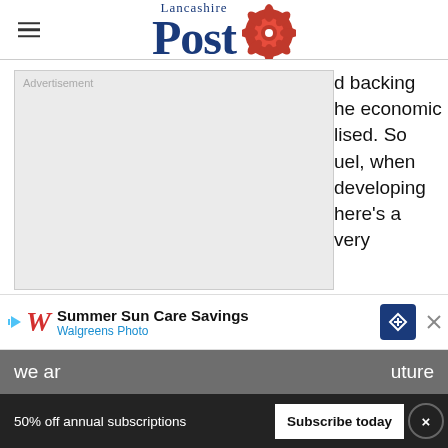Lancashire Post
[Figure (screenshot): Advertisement placeholder box (grey background)]
d backing he economic lised. So uel, when developing here's a very
[Figure (screenshot): Walgreens Photo ad: Summer Sun Care Savings]
we ar... uture
50% off annual subscriptions
Subscribe today